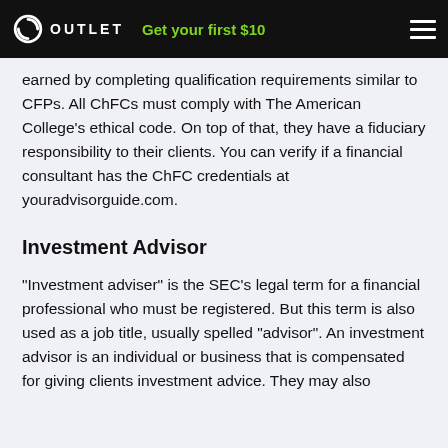OUTLET  Get your first $10
earned by completing qualification requirements similar to CFPs. All ChFCs must comply with The American College’s ethical code. On top of that, they have a fiduciary responsibility to their clients. You can verify if a financial consultant has the ChFC credentials at youradvisorguide.com.
Investment Advisor
“Investment adviser” is the SEC’s legal term for a financial professional who must be registered. But this term is also used as a job title, usually spelled “advisor”. An investment advisor is an individual or business that is compensated for giving clients investment advice. They may also